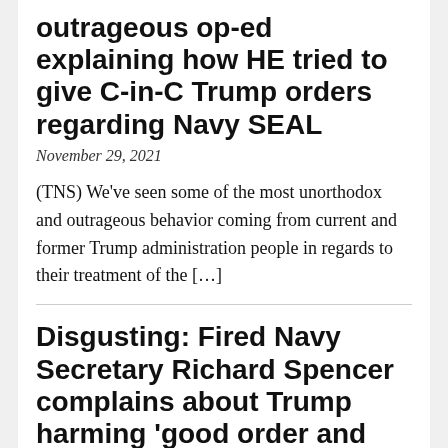outrageous op-ed explaining how HE tried to give C-in-C Trump orders regarding Navy SEAL
November 29, 2021
(TNS) We’ve seen some of the most unorthodox and outrageous behavior coming from current and former Trump administration people in regards to their treatment of the […]
Disgusting: Fired Navy Secretary Richard Spencer complains about Trump harming ‘good order and discipline’